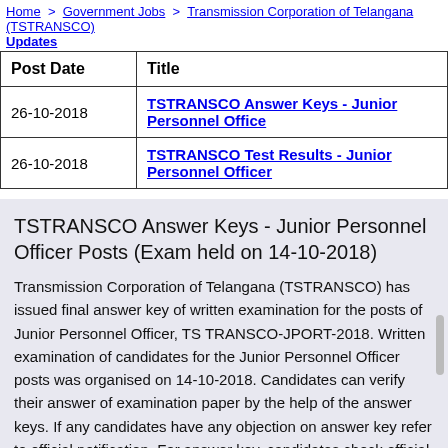Home > Government Jobs > Transmission Corporation of Telangana (TSTRANSCO) > Updates
| Post Date | Title |
| --- | --- |
| 26-10-2018 | TSTRANSCO Answer Keys - Junior Personnel Officer |
| 26-10-2018 | TSTRANSCO Test Results - Junior Personnel Officer |
TSTRANSCO Answer Keys - Junior Personnel Officer Posts (Exam held on 14-10-2018)
Transmission Corporation of Telangana (TSTRANSCO) has issued final answer key of written examination for the posts of Junior Personnel Officer, TS TRANSCO-JPORT-2018. Written examination of candidates for the Junior Personnel Officer posts was organised on 14-10-2018. Candidates can verify their answer of examination paper by the help of the answer keys. If any candidates have any objection on answer key refer to official notification. For answer key, candidates check official notification.
Top